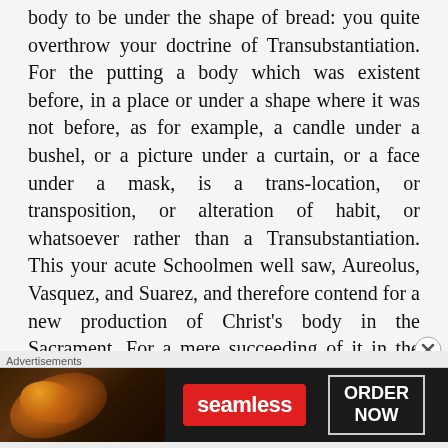body to be under the shape of bread: you quite overthrow your doctrine of Transubstantiation. For the putting a body which was existent before, in a place or under a shape where it was not before, as for example, a candle under a bushel, or a picture under a curtain, or a face under a mask, is a trans-location, or transposition, or alteration of habit, or whatsoever rather than a Transubstantiation. This your acute Schoolmen well saw, Aureolus, Vasquez, and Suarez, and therefore contend for a new production of Christ's body in the Sacrament. For a mere succeeding of it in the place of bread, or union thereof with the accidents, or bringing it to, and placing it on the
Advertisements
[Figure (other): Advertisement banner for Seamless food delivery service showing pizza image on the left, Seamless logo in red, and 'ORDER NOW' button on the right on a dark background]